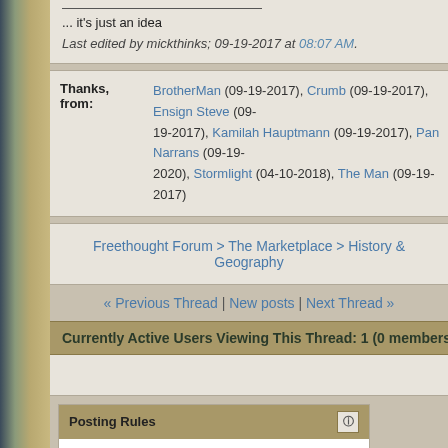... it's just an idea
Last edited by mickthinks; 09-19-2017 at 08:07 AM.
| Thanks, from: | people |
| --- | --- |
| Thanks, from: | BrotherMan (09-19-2017), Crumb (09-19-2017), Ensign Steve (09-19-2017), Kamilah Hauptmann (09-19-2017), Pan Narrans (09-19-2020), Stormlight (04-10-2018), The Man (09-19-2017) |
Freethought Forum > The Marketplace > History & Geography
« Previous Thread | New posts | Next Thread »
Currently Active Users Viewing This Thread: 1 (0 members a
Posting Rules
You may not post new threads
You may not post replies
You may not post attachments
You may not edit your posts
BB code is On
Smilies are On